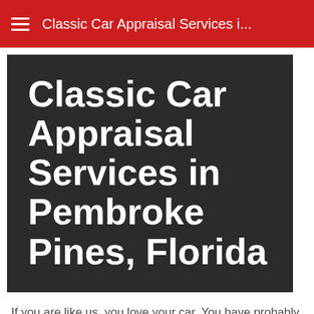Classic Car Appraisal Services i...
Classic Car Appraisal Services in Pembroke Pines, Florida
If you are like us, you love your car. You have probably spent countless hours and dollars making it everything you have always dreamed of. We, like you, enjoy being around car people, and more importantly cars the...